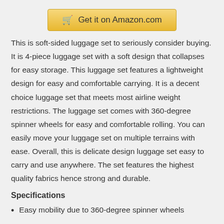[Figure (other): Get it on Amazon.com button with shopping cart icon]
This is soft-sided luggage set to seriously consider buying. It is 4-piece luggage set with a soft design that collapses for easy storage. This luggage set features a lightweight design for easy and comfortable carrying. It is a decent choice luggage set that meets most airline weight restrictions. The luggage set comes with 360-degree spinner wheels for easy and comfortable rolling. You can easily move your luggage set on multiple terrains with ease. Overall, this is delicate design luggage set easy to carry and use anywhere. The set features the highest quality fabrics hence strong and durable.
Specifications
Easy mobility due to 360-degree spinner wheels